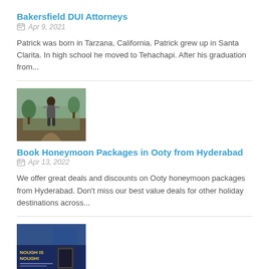Bakersfield DUI Attorneys
Apr 9, 2021
Patrick was born in Tarzana, California. Patrick grew up in Santa Clarita. In high school he moved to Tehachapi. After his graduation from...
[Figure (photo): Thumbnail image of a person outdoors on a path]
Book Honeymoon Packages in Ooty from Hyderabad
Apr 13, 2022
We offer great deals and discounts on Ooty honeymoon packages from Hyderabad. Don't miss our best value deals for other holiday destinations across...
[Figure (photo): Thumbnail image showing a promotional ad with dark blue background and text 'NOUGH IS NOUGH!' with a phone/tablet device]